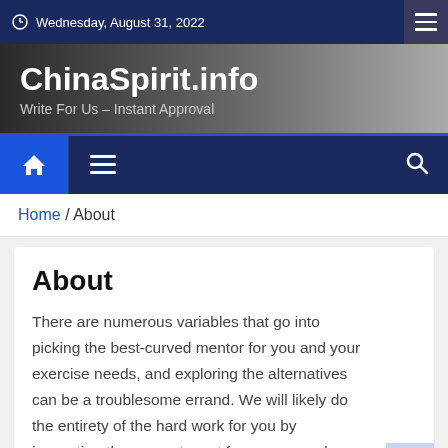Wednesday, August 31, 2022
ChinaSpirit.info
Write For Us – Instant Approval
Home / About
About
There are numerous variables that go into picking the best-curved mentor for you and your exercise needs, and exploring the alternatives can be a troublesome errand. We will likely do the entirety of the hard work for you by inspecting the present most famous curved mentors. We've